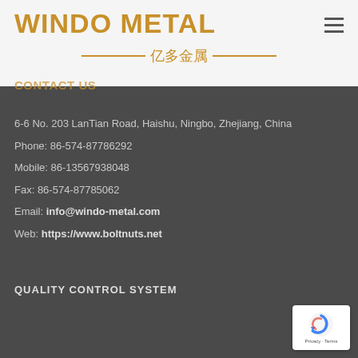WINDO METAL 亿多金属
CONTACT US
6-6 No. 203 LanTian Road, Haishu, Ningbo, Zhejiang, China
Phone: 86-574-87786292
Mobile: 86-13567938048
Fax: 86-574-87785062
Email: info@windo-metal.com
Web: https://www.boltnuts.net
QUALITY CONTROL SYSTEM
[Figure (logo): reCAPTCHA logo with Privacy - Terms text]